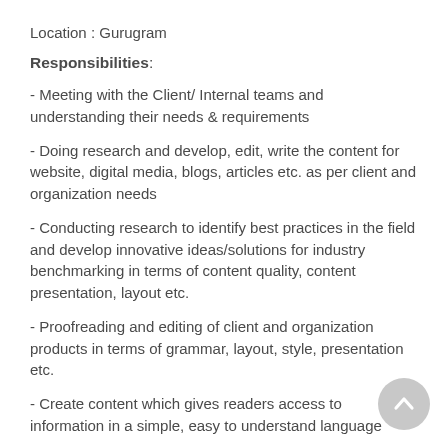Location : Gurugram
Responsibilities:
- Meeting with the Client/ Internal teams and understanding their needs & requirements
- Doing research and develop, edit, write the content for website, digital media, blogs, articles etc. as per client and organization needs
- Conducting research to identify best practices in the field and develop innovative ideas/solutions for industry benchmarking in terms of content quality, content presentation, layout etc.
- Proofreading and editing of client and organization products in terms of grammar, layout, style, presentation etc.
- Create content which gives readers access to information in a simple, easy to understand language
- Generate content, making smart use of keywords. The text